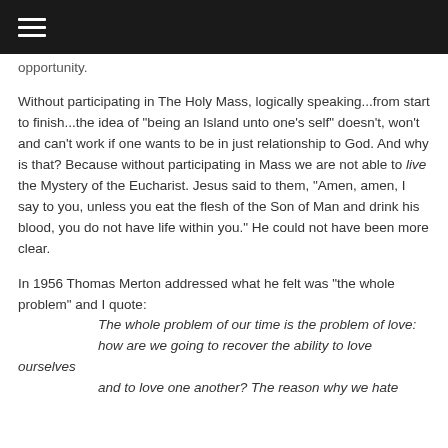≡
opportunity.
Without participating in The Holy Mass, logically speaking...from start to finish...the idea of "being an Island unto one's self" doesn't, won't and can't work if one wants to be in just relationship to God.  And why is that?  Because without participating in Mass we are not able to live the Mystery of the Eucharist.    Jesus said to them, "Amen, amen, I say to you, unless you eat the flesh of the Son of Man and drink his blood, you do not have life within you."  He could not have been more clear.
In 1956 Thomas Merton addressed what he felt was "the whole problem" and I quote:
        The whole problem of our time is the problem of love:
        how are we going to recover the ability to love ourselves
        and to love one another?  The reason why we hate